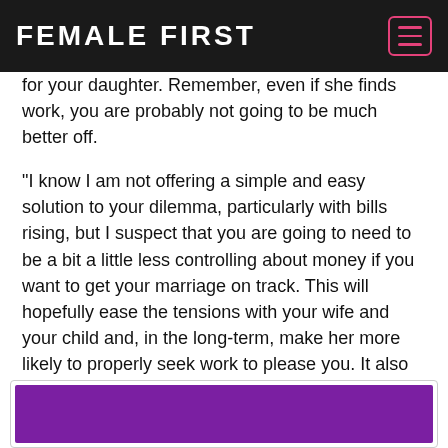FEMALE FIRST
for your daughter. Remember, even if she finds work, you are probably not going to be much better off.
“I know I am not offering a simple and easy solution to your dilemma, particularly with bills rising, but I suspect that you are going to need to be a bit a little less controlling about money if you want to get your marriage on track. This will hopefully ease the tensions with your wife and your child and, in the long-term, make her more likely to properly seek work to please you. It also might get you back in the marital bed.”
Jessica is a sex and relationship expert for the dating site, IllicitEncounters.com
[Figure (other): Purple rectangle banner/advertisement at bottom of page]